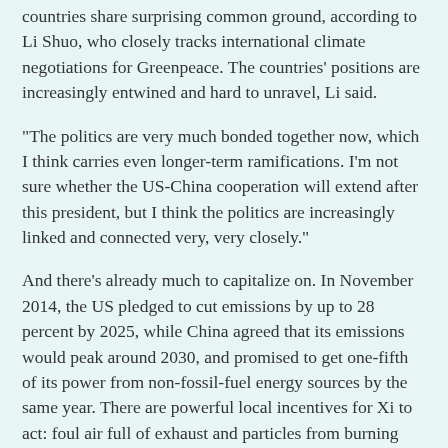countries share surprising common ground, according to Li Shuo, who closely tracks international climate negotiations for Greenpeace. The countries' positions are increasingly entwined and hard to unravel, Li said.
"The politics are very much bonded together now, which I think carries even longer-term ramifications. I'm not sure whether the US-China cooperation will extend after this president, but I think the politics are increasingly linked and connected very, very closely."
And there's already much to capitalize on. In November 2014, the US pledged to cut emissions by up to 28 percent by 2025, while China agreed that its emissions would peak around 2030, and promised to get one-fifth of its power from non-fossil-fuel energy sources by the same year. There are powerful local incentives for Xi to act: foul air full of exhaust and particles from burning coal has reached a tipping point across Chinese cities. Xi's visit this week comes days after an agreement was signed last week at the first-ever US-China Low Carbon Cities Summit in Los Angeles, which commits 11 giant Chinese cities and several major US cities to slashing carbon emissions.